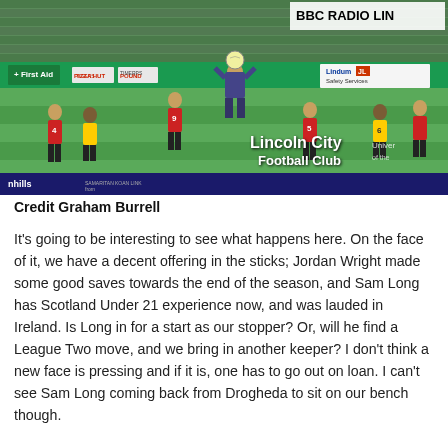[Figure (photo): Football match photo at Lincoln City Football Club stadium. Players in red/black and yellow/black kits on green pitch. A goalkeeper in grey/dark jersey jumps to catch the ball. Stands in background with green seats. Sponsors banners visible including First Aid sign, Pizza Hut Tigers, Lindum Safety Services. BBC Radio Lincoln logo top right. Lincoln City Football Club logo overlay bottom right.]
Credit Graham Burrell
It’s going to be interesting to see what happens here. On the face of it, we have a decent offering in the sticks; Jordan Wright made some good saves towards the end of the season, and Sam Long has Scotland Under 21 experience now, and was lauded in Ireland. Is Long in for a start as our stopper? Or, will he find a League Two move, and we bring in another keeper? I don’t think a new face is pressing and if it is, one has to go out on loan. I can’t see Sam Long coming back from Drogheda to sit on our bench though.